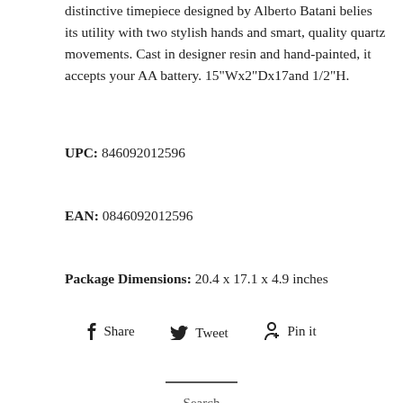distinctive timepiece designed by Alberto Batani belies its utility with two stylish hands and smart, quality quartz movements. Cast in designer resin and hand-painted, it accepts your AA battery. 15"Wx2"Dx17and 1/2"H.
UPC: 846092012596
EAN: 0846092012596
Package Dimensions: 20.4 x 17.1 x 4.9 inches
Share  Tweet  Pin it
Search